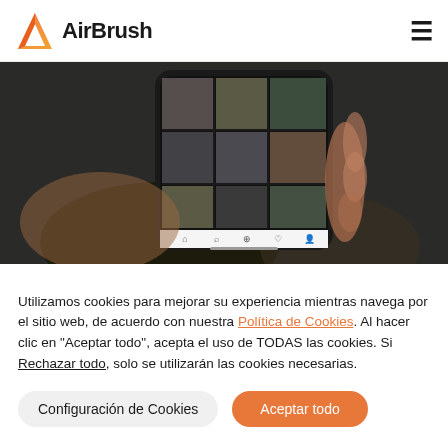AirBrush
[Figure (photo): A hand holding a smartphone displaying an Instagram-like grid of photos in a dark setting]
Utilizamos cookies para mejorar su experiencia mientras navega por el sitio web, de acuerdo con nuestra Política de Cookies. Al hacer clic en "Aceptar todo", acepta el uso de TODAS las cookies. Si Rechazar todo, solo se utilizarán las cookies necesarias.
Configuración de Cookies
Aceptar todo